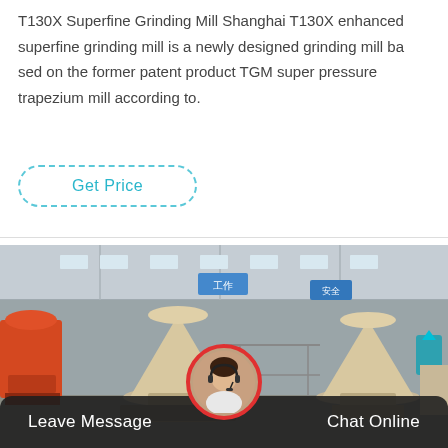T130X Superfine Grinding Mill Shanghai T130X enhanced superfine grinding mill is a newly designed grinding mill ba sed on the former patent product TGM super pressure trapezium mill according to.
Get Price
[Figure (photo): Industrial factory floor showing large cone-shaped grinding mill machines (beige/tan colored) on heavy equipment platforms, with orange machinery visible on the left side. Factory interior with steel frame structure, banners with Chinese text, and overhead lighting.]
Leave Message   Chat Online